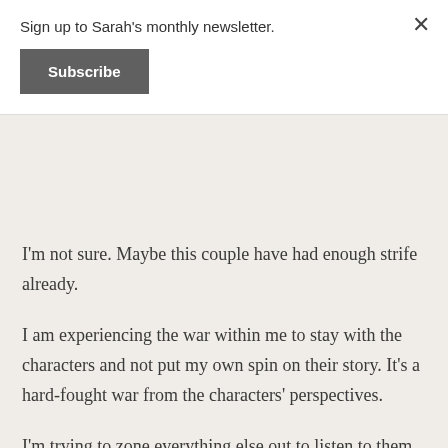Sign up to Sarah's monthly newsletter.
Subscribe
I'm not sure. Maybe this couple have had enough strife already.
I am experiencing the war within me to stay with the characters and not put my own spin on their story. It's a hard-fought war from the characters' perspectives.
I'm trying to zone everything else out to listen to them, which means less time on social media. I really despise scrolling through Facebook and seeing posts about procrastination, i.e. "I should be writing but I'm watching wrestling." If you should